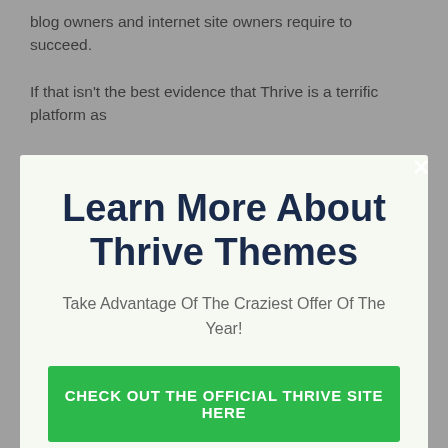blog owners and internet site owners require to succeed.
If that isn't the best evidence that Thrive is a terrific platform as
Learn More About Thrive Themes
Take Advantage Of The Craziest Offer Of The Year!
CHECK OUT THE OFFICIAL THRIVE SITE HERE
entrepreneur elect…ed to drive conversions and inevitably, earnings for their blog site or site.
No thanks, I'm not interested!